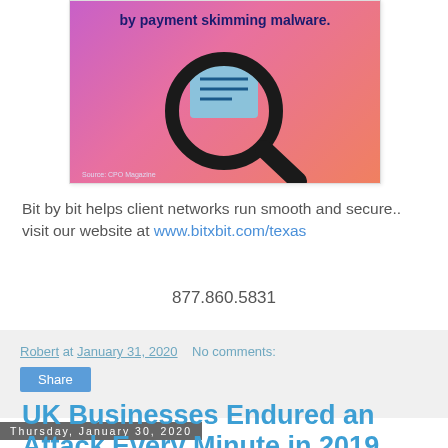[Figure (illustration): Pink-to-orange gradient promotional image with magnifying glass icon and text about payment skimming malware. Source: CPO Magazine.]
Bit by bit helps client networks run smooth and secure.. visit our website at www.bitxbit.com/texas
877.860.5831
Robert at January 31, 2020   No comments:
Share
Thursday, January 30, 2020
UK Businesses Endured an Attack Every Minute in 2019